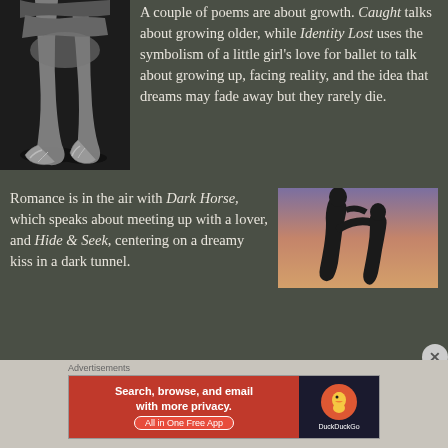[Figure (photo): Black and white photo of ballet dancer feet in pointe shoes]
A couple of poems are about growth. Caught talks about growing older, while Identity Lost uses the symbolism of a little girl's love for ballet to talk about growing up, facing reality, and the idea that dreams may fade away but they rarely die.
Romance is in the air with Dark Horse, which speaks about meeting up with a lover, and Hide & Seek, centering on a dreamy kiss in a dark tunnel.
[Figure (photo): Silhouette of two people about to kiss against a purple/pink sunset sky]
Advertisements
[Figure (infographic): DuckDuckGo advertisement banner: Search, browse, and email with more privacy. All in One Free App]